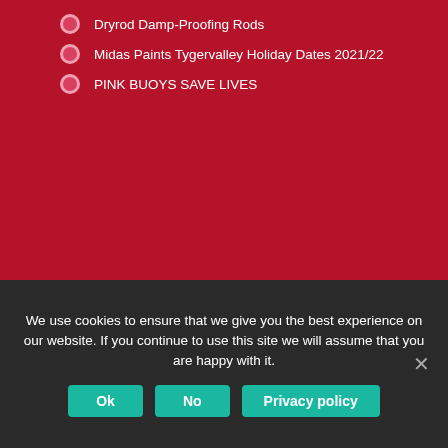Dryrod Damp-Proofing Rods
Midas Paints Tygervalley Holiday Dates 2021/22
PINK BUOYS SAVE LIVES
COVID-19 Corona Virus South African Resource Portal
[Figure (logo): COVID-19 Online Resource & News Portal SAcoronavirus.co.za banner with Department of Health Republic of South Africa logo and NDP 2030 logo]
We use cookies to ensure that we give you the best experience on our website. If you continue to use this site we will assume that you are happy with it.
Ok  No  Privacy policy